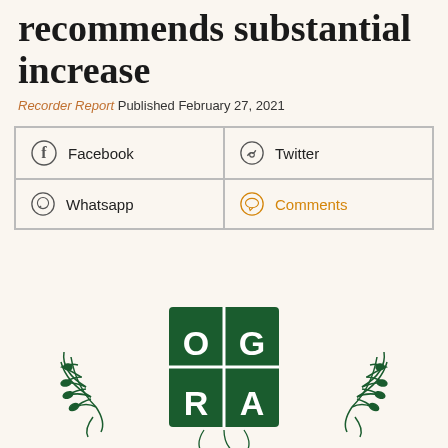recommends substantial increase
Recorder Report Published February 27, 2021
[Figure (infographic): Social sharing buttons grid: Facebook, Twitter, Whatsapp, Comments]
[Figure (logo): OGRA (Oil and Gas Regulatory Authority) logo - green emblem with crescent moon, star, shield with O G R A letters, and decorative laurel wreath branches]